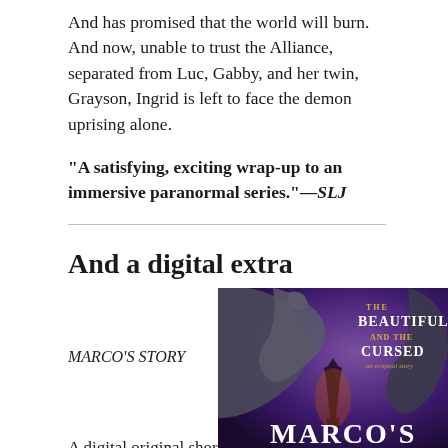And has promised that the world will burn. And now, unable to trust the Alliance, separated from Luc, Gabby, and her twin, Grayson, Ingrid is left to face the demon uprising alone.
“A satisfying, exciting wrap-up to an immersive paranormal series.”—SLJ
And a digital extra
MARCO’S STORY
A digital original short story set in the world
[Figure (photo): Book cover for 'The Beautiful and the Cursed: Marco's Story', an original story. Shows gargoyle figure against purple sky with the Eiffel Tower in the background. The title 'Marco's' is visible at the bottom in large white letters.]